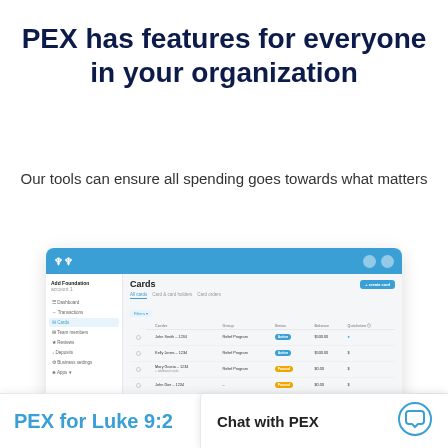PEX has features for everyone in your organization
Our tools can ensure all spending goes towards what matters
[Figure (screenshot): PEX web application dashboard screenshot showing the Cards section with a list of cardholders including John Smith, Kelly Jones, Mary Garcia, John Doe, Peter Parker and others, with columns for Group, Status, Balance, and Quickview. Left sidebar shows navigation items: Dashboard, Transactions, Cards, Team Members, Reviews, Deposits, Business Settings, Apps.]
PEX for Luke 9:2
Chat with PEX